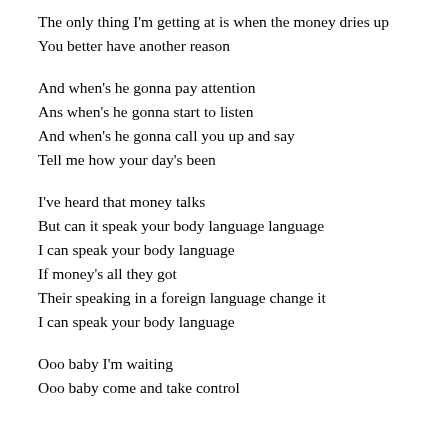The only thing I'm getting at is when the money dries up
You better have another reason
And when's he gonna pay attention
Ans when's he gonna start to listen
And when's he gonna call you up and say
Tell me how your day's been
I've heard that money talks
But can it speak your body language language
I can speak your body language
If money's all they got
Their speaking in a foreign language change it
I can speak your body language
Ooo baby I'm waiting
Ooo baby come and take control